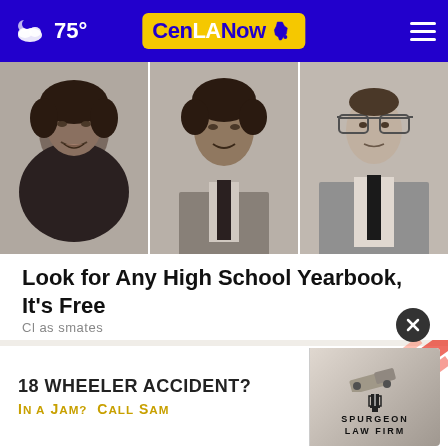75° CenLA Now
[Figure (photo): Three black-and-white yearbook-style portrait photos side by side: a young Black woman smiling, a young Black man in a suit and tie, and a young white man with glasses in a suit and tie.]
Look for Any High School Yearbook, It's Free
Classmates
[Figure (illustration): Advertisement banner: '18 WHEELER ACCIDENT? In a JAM? Call Sam' with Spurgeon Law Firm logo and an image of an overturned truck.]